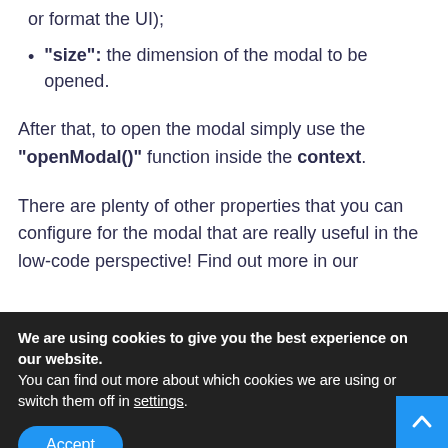or format the UI);
"size": the dimension of the modal to be opened.
After that, to open the modal simply use the "openModal()" function inside the context.
There are plenty of other properties that you can configure for the modal that are really useful in the low-code perspective! Find out more in our
We are using cookies to give you the best experience on our website.
You can find out more about which cookies we are using or switch them off in settings.
Accept